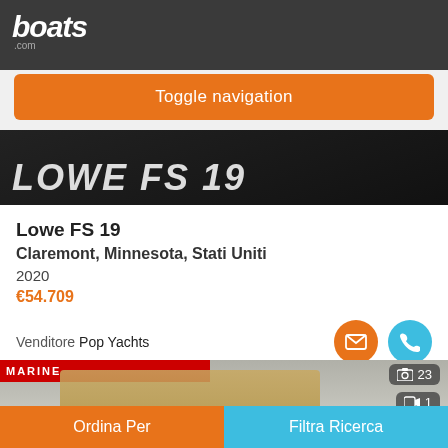boats.com
Toggle navigation
[Figure (photo): Hero image showing LOWE FS 19 text overlay on dark background]
Lowe FS 19
Claremont, Minnesota, Stati Uniti
2020
€54.709
Venditore Pop Yachts
[Figure (photo): Boat listing photo showing marine structure with canopy, MARINE logo banner at top. Badge showing camera icon and 23, video icon and 1.]
Ordina Per | Filtra Ricerca